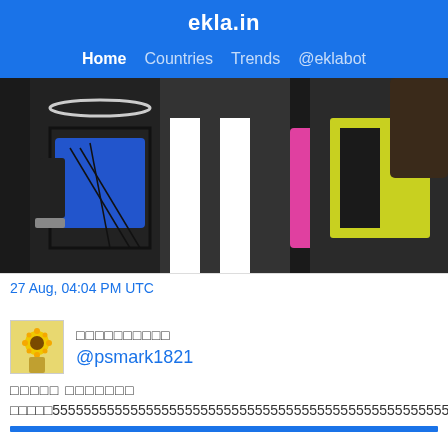ekla.in
Home  Countries  Trends  @eklabot
[Figure (photo): Three women in colorful costumes: left in black mesh and blue corset, center in black and white stripes, right in yellow and black outfit with pink glove visible in middle]
27 Aug, 04:04 PM UTC
□□□□□□□□□□
@psmark1821
□□□□□ □□□□□□□
□□□□□5555555555555555555555555555555555555555555555555555555555555